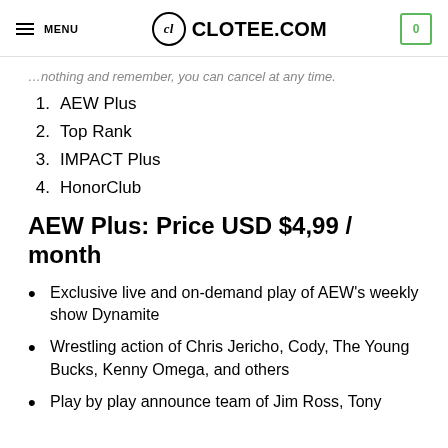MENU | CL CLOTEE.COM | 0
…nothing and remember, you can cancel at any time.
1. AEW Plus
2. Top Rank
3. IMPACT Plus
4. HonorClub
AEW Plus: Price USD $4,99 / month
Exclusive live and on-demand play of AEW's weekly show Dynamite
Wrestling action of Chris Jericho, Cody, The Young Bucks, Kenny Omega, and others
Play by play announce team of Jim Ross, Tony